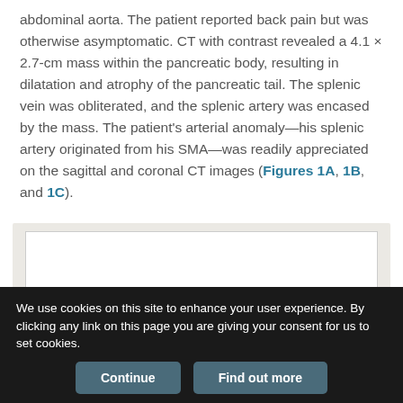abdominal aorta. The patient reported back pain but was otherwise asymptomatic. CT with contrast revealed a 4.1 × 2.7-cm mass within the pancreatic body, resulting in dilatation and atrophy of the pancreatic tail. The splenic vein was obliterated, and the splenic artery was encased by the mass. The patient's arterial anomaly—his splenic artery originated from his SMA—was readily appreciated on the sagittal and coronal CT images (Figures 1A, 1B, and 1C).
[Figure (photo): Medical CT image figure area (partially visible, white box on beige background)]
We use cookies on this site to enhance your user experience. By clicking any link on this page you are giving your consent for us to set cookies.